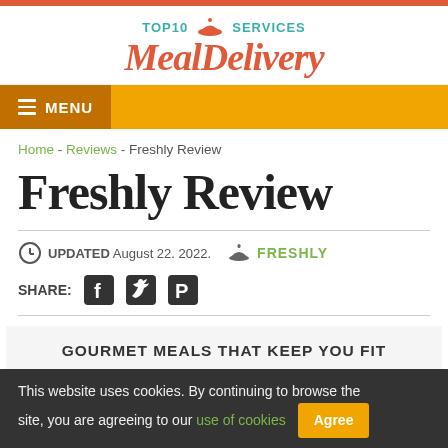[Figure (logo): TOP10 SERVICES MealDelivery logo with cloche icon]
MENU
Home - Reviews - Freshly Review
Freshly Review
UPDATED August 22. 2022.   FRESHLY
SHARE: [Facebook icon] [Twitter icon] [Pinterest icon]
GOURMET MEALS THAT KEEP YOU FIT
This website uses cookies. By continuing to browse the site, you are agreeing to our use of cookies  Agree